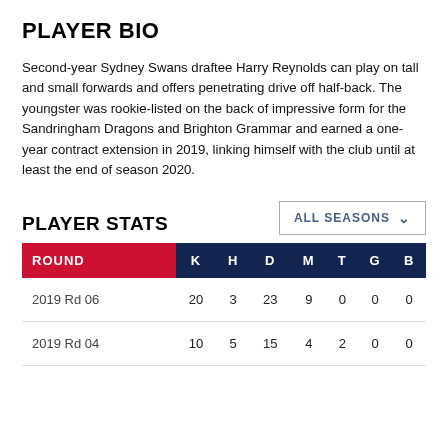PLAYER BIO
Second-year Sydney Swans draftee Harry Reynolds can play on tall and small forwards and offers penetrating drive off half-back. The youngster was rookie-listed on the back of impressive form for the Sandringham Dragons and Brighton Grammar and earned a one-year contract extension in 2019, linking himself with the club until at least the end of season 2020.
PLAYER STATS
| ROUND | K | H | D | M | T | G | B |
| --- | --- | --- | --- | --- | --- | --- | --- |
| 2019 Rd 06 | 20 | 3 | 23 | 9 | 0 | 0 | 0 |
| 2019 Rd 04 | 10 | 5 | 15 | 4 | 2 | 0 | 0 |